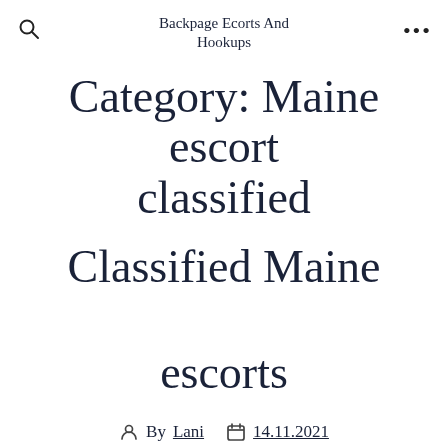Backpage Ecorts And Hookups
Category: Maine escort classified
Classified Maine escorts
By Lani  14.11.2021  In Maine escort classified